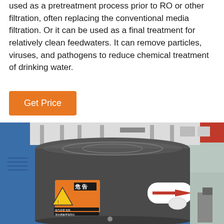used as a pretreatment process prior to RO or other filtration, often replacing the conventional media filtration. Or it can be used as a final treatment for relatively clean feedwaters. It can remove particles, viruses, and pathogens to reduce chemical treatment of drinking water.
Get Price
[Figure (photo): Industrial filtration equipment, a dark grey cylindrical motor/pump unit with Chinese warning labels (orange label with hazard symbol) and a directional arrow sticker, set against a blue background with industrial piping visible at top.]